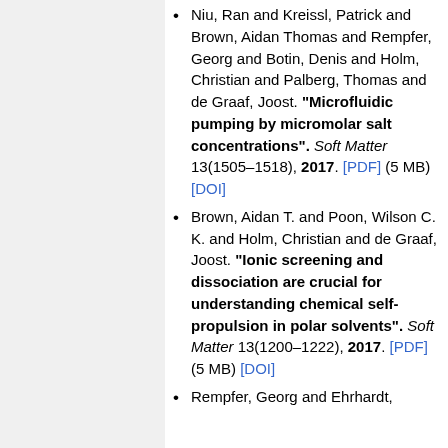Niu, Ran and Kreissl, Patrick and Brown, Aidan Thomas and Rempfer, Georg and Botin, Denis and Holm, Christian and Palberg, Thomas and de Graaf, Joost. "Microfluidic pumping by micromolar salt concentrations". Soft Matter 13(1505–1518), 2017. [PDF] (5 MB) [DOI]
Brown, Aidan T. and Poon, Wilson C. K. and Holm, Christian and de Graaf, Joost. "Ionic screening and dissociation are crucial for understanding chemical self-propulsion in polar solvents". Soft Matter 13(1200–1222), 2017. [PDF] (5 MB) [DOI]
Rempfer, Georg and Ehrhardt,